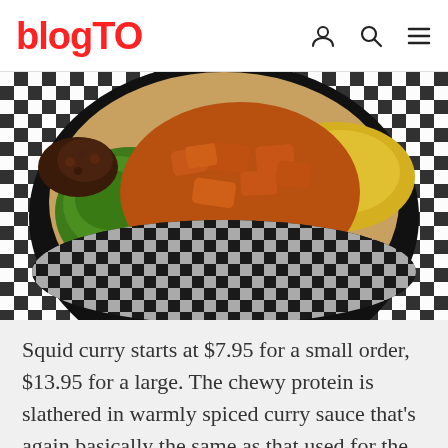blogTO
[Figure (photo): A bowl of Indian curry food — squid curry with pureed spinach, daal curry and beans, served in a black bowl with checkered pattern, on a checkered tablecloth]
Squid curry starts at $7.95 for a small order, $13.95 for a large. The chewy protein is slathered in warmly spiced curry sauce that’s again basically the same as that used for the chicken. We get this meal with comfortingly basic pureed spinach, daal curry and a mix of beans.